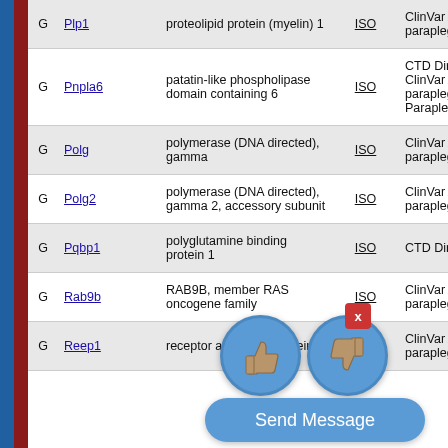| Type | Gene | Description | ISO | Evidence |
| --- | --- | --- | --- | --- |
| G | Plp1 | proteolipid protein (myelin) 1 | ISO | ClinVar Annota... paraplegia |
| G | Pnpla6 | patatin-like phospholipase domain containing 6 | ISO | CTD Direct Ev... ClinVar Annota... paraplegia | C... Paraplegia, Re... |
| G | Polg | polymerase (DNA directed), gamma | ISO | ClinVar Annota... paraplegia |
| G | Polg2 | polymerase (DNA directed), gamma 2, accessory subunit | ISO | ClinVar Annota... paraplegia |
| G | Pqbp1 | polyglutamine binding protein 1 | ISO | CTD Direct Ev... |
| G | Rab9b | RAB9B, member RAS oncogene family | ISO | ClinVar Annota... paraplegia |
| G | Reep1 | receptor accessory protein 1 | ISO | ClinVar Annota... paraplegia |
[Figure (infographic): UI overlay with thumbs up and thumbs down circular blue buttons, a red X close button, and a 'Send Message' blue rounded button]